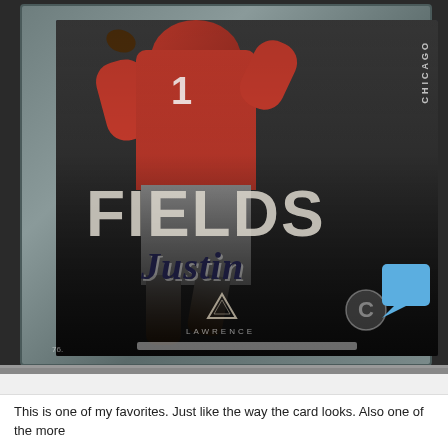[Figure (photo): A graded sports trading card (Justin Fields, Chicago Bears, Lawrence brand) in a protective slab/case. The card shows Justin Fields in a red Ohio State uniform throwing a football, with large 'FIELDS' text and cursive 'Justin' script on the card face. A blue chat bubble icon appears in the bottom-right corner of the image area.]
This is one of my favorites. Just like the way the card looks. Also one of the more